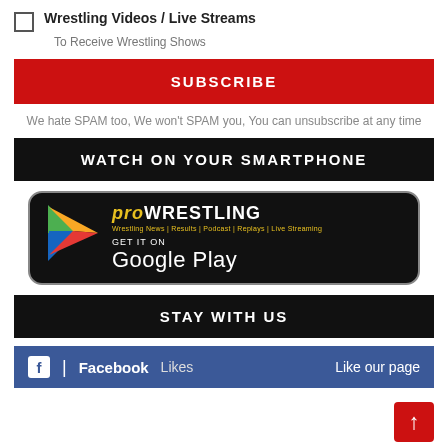Wrestling Videos / Live Streams — To Receive Wrestling Shows
SUBSCRIBE
We hate SPAM too, We won't SPAM you, You can unsubscribe at any time
WATCH ON YOUR SMARTPHONE
[Figure (logo): ProWrestling app Google Play Store badge with Play Store triangle icon, 'PRO WRESTLING' title in yellow and white, tagline 'Wrestling News | Results | Podcast | Replays | Live Streaming', and 'GET IT ON Google Play' text]
STAY WITH US
Facebook Likes — Like our page